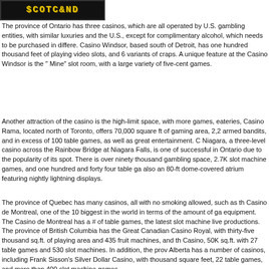[Figure (logo): SCOTCAND logo in yellow text on black background with pixelated/retro font style]
The province of Ontario has three casinos, which are all operated by U.S. gambling entities, with similar luxuries and the U.S., except for complimentary alcohol, which needs to be purchased in diffe. Casino Windsor, based south of Detroit, has one hundred thousand feet of playing video slots, and 6 variants of craps. A unique feature at the Casino Windsor is the Mine" slot room, with a large variety of five-cent games.
Another attraction of the casino is the high-limit space, with more games, eateries, Casino Rama, located north of Toronto, offers 70,000 square ft of gaming area, 2,2 armed bandits, and in excess of 100 table games, as well as great entertainment. Niagara, a three-level casino across the Rainbow Bridge at Niagara Falls, is one o successful in Ontario due to the popularity of its spot. There is over ninety thousan gambling space, 2.7K slot machine games, and one hundred and forty four table g also an 80-ft dome-covered atrium featuring nightly lightning displays.
The province of Quebec has many casinos, all with no smoking allowed, such as th Casino de Montreal, one of the 10 biggest in the world in terms of the amount of g equipment. The Casino de Montreal has a # of table games, the latest slot machin live productions. The province of British Columbia has the Great Canadian Casino Royal, with thirty-five thousand sq.ft. of playing area and 435 fruit machines, and th Casino, 50K sq.ft. with 27 table games and 530 slot machines. In addition, the pro Alberta has a number of casinos, including Frank Sisson's Silver Dollar Casino, wit thousand square feet, 22 table games, and more than 400 slot machine games.